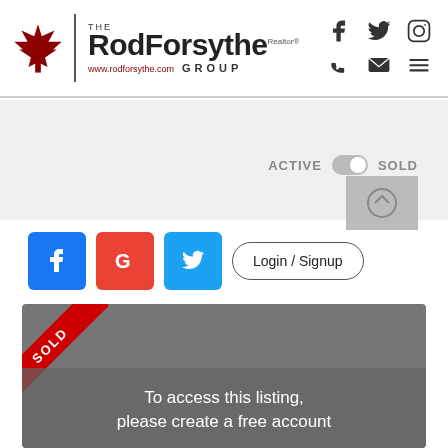[Figure (logo): The Rod Forsythe Group Realtor logo with maple leaf and website URL www.rodforsythe.com]
[Figure (infographic): Social media icons (Facebook, Twitter, Instagram) and contact icons (phone, email, hamburger menu) in header]
[Figure (infographic): Active/Sold toggle bar with a small property card thumbnail in gray band]
[Figure (infographic): Social login buttons: Facebook (blue f), Google (red G), Twitter (blue bird), and Login/Signup button]
[Figure (infographic): Property listing card with SOLD ribbon, gray background overlay showing text: To access this listing, please create a free account]